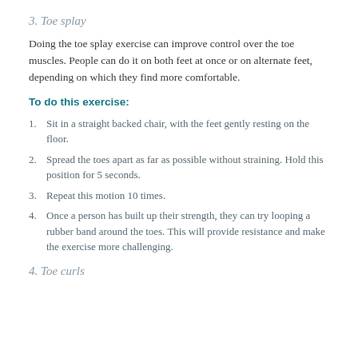3. Toe splay
Doing the toe splay exercise can improve control over the toe muscles. People can do it on both feet at once or on alternate feet, depending on which they find more comfortable.
To do this exercise:
Sit in a straight backed chair, with the feet gently resting on the floor.
Spread the toes apart as far as possible without straining. Hold this position for 5 seconds.
Repeat this motion 10 times.
Once a person has built up their strength, they can try looping a rubber band around the toes. This will provide resistance and make the exercise more challenging.
4. Toe curls